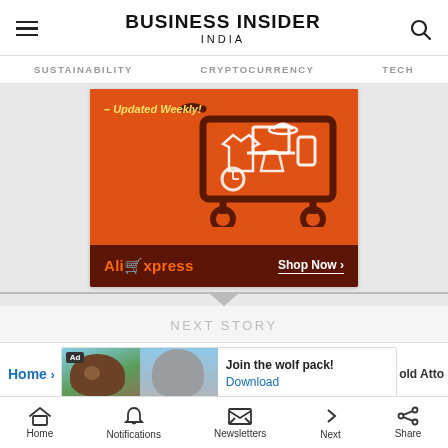BUSINESS INSIDER INDIA
SUSTAINABILITY   CRYPTOCURRENCY   TECH
[Figure (photo): AliExpress advertisement banner with shopping cart illustration, orange background, text '– Updated Weekly!', AliExpress logo and 'Shop Now >' button on dark red footer]
NEXT STORY
Home ›
[Figure (photo): Ad banner with wolf and bear images, text 'Join the wolf pack!' and 'Download' link]
old Atto
Home   Notifications   Newsletters   Next   Share